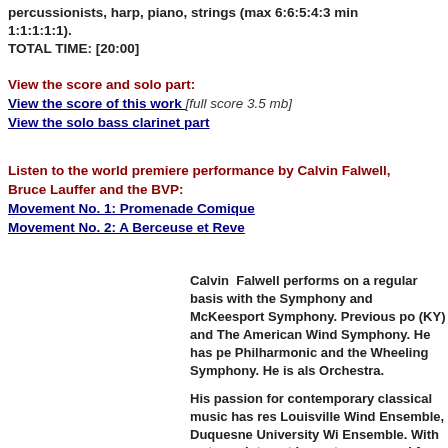percussionists, harp, piano, strings (max 6:6:5:4:3 min 1:1:1:1:1).
TOTAL TIME: [20:00]
View the score and solo part: View the score of this work [full score 3.5 mb] View the solo bass clarinet part
Listen to the world premiere performance by Calvin Falwell, Bruce Lauffer and the BVP: Movement No. 1: Promenade Comique Movement No. 2: A Berceuse et Reve
Calvin Falwell performs on a regular basis with the Symphony and McKeesport Symphony. Previous po (KY) and The American Wind Symphony. He has pe Philharmonic and the Wheeling Symphony. He is als Orchestra.
His passion for contemporary classical music has res Louisville Wind Ensemble, Duquesne University Wi Ensemble. With a strong interest in contemporary cl for him by some of America's most promising young and Suzanne Polak. In the May 2008 he will be givin